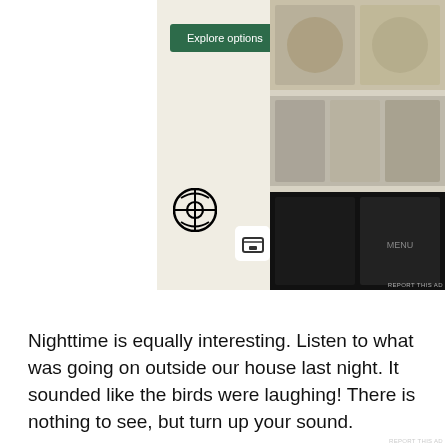[Figure (screenshot): WordPress website builder advertisement showing an 'Explore options' button, WordPress logo, and food images on a mobile screen mockup]
Nighttime is equally interesting. Listen to what was going on outside our house last night. It sounded like the birds were laughing! There is nothing to see, but turn up your sound.
[Figure (screenshot): Embedded video player showing 'Birds in the Night - Panama' with a circular avatar thumbnail on a black background]
Advertisements